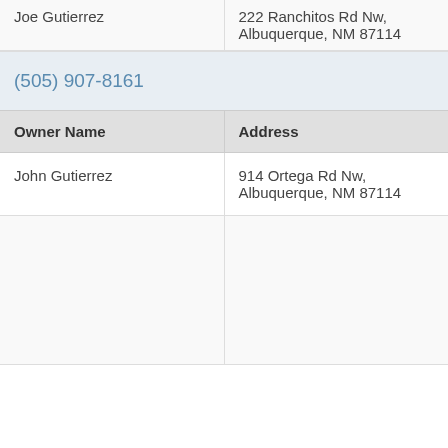| Owner Name | Address |
| --- | --- |
| Joe Gutierrez | 222 Ranchitos Rd Nw,
Albuquerque, NM 87114 |
(505) 907-8161
| Owner Name | Address |
| --- | --- |
| John Gutierrez | 914 Ortega Rd Nw,
Albuquerque, NM 87114 |